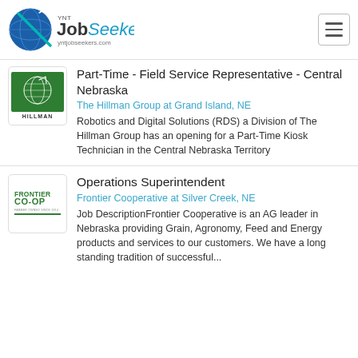YNT JobSeekers — yntjobseekers.com
[Figure (logo): YNT JobSeekers logo with globe and arrow graphic, yntjobseekers.com]
[Figure (logo): The Hillman Group company logo]
Part-Time - Field Service Representative - Central Nebraska
The Hillman Group at Grand Island, NE
Robotics and Digital Solutions (RDS) a Division of The Hillman Group has an opening for a Part-Time Kiosk Technician in the Central Nebraska Territory
[Figure (logo): Frontier Co-Op company logo]
Operations Superintendent
Frontier Cooperative at Silver Creek, NE
Job DescriptionFrontier Cooperative is an AG leader in Nebraska providing Grain, Agronomy, Feed and Energy products and services to our customers. We have a long standing tradition of successful...